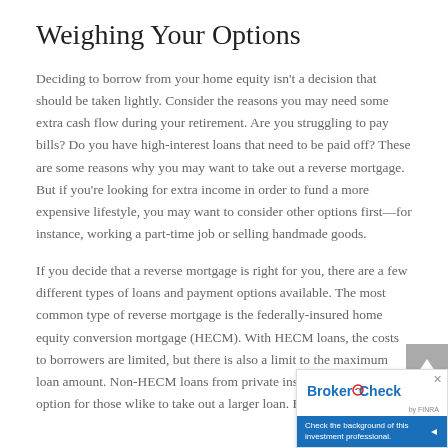Weighing Your Options
Deciding to borrow from your home equity isn't a decision that should be taken lightly. Consider the reasons you may need some extra cash flow during your retirement. Are you struggling to pay bills? Do you have high-interest loans that need to be paid off? These are some reasons why you may want to take out a reverse mortgage. But if you're looking for extra income in order to fund a more expensive lifestyle, you may want to consider other options first—for instance, working a part-time job or selling handmade goods.
If you decide that a reverse mortgage is right for you, there are a few different types of loans and payment options available. The most common type of reverse mortgage is the federally-insured home equity conversion mortgage (HECM). With HECM loans, the costs to borrowers are limited, but there is also a limit to the maximum loan amount. Non-HECM loans from private institutions, are an option for those who like to take out a larger loan. But non-HECM loans typically have fewer protections and cost more.